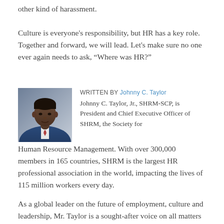other kind of harassment.

Culture is everyone's responsibility, but HR has a key role. Together and forward, we will lead. Let's make sure no one ever again needs to ask, “Where was HR?”
WRITTEN BY Johnny C. Taylor
[Figure (photo): Headshot photo of Johnny C. Taylor, Jr., an African American man in a blue suit and tie, against a neutral background.]
Johnny C. Taylor, Jr., SHRM-SCP, is President and Chief Executive Officer of SHRM, the Society for Human Resource Management. With over 300,000 members in 165 countries, SHRM is the largest HR professional association in the world, impacting the lives of 115 million workers every day.
As a global leader on the future of employment, culture and leadership, Mr. Taylor is a sought-after voice on all matters affecting work, workers and the workplace. He is frequently asked to testify before Congress on critical workforce issues and authors the weekly USA Today column, “Ask HR.”